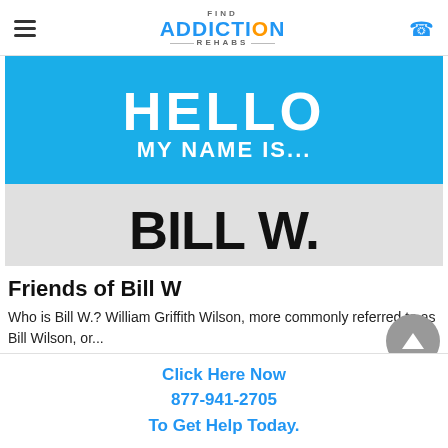Find Addiction Rehabs
[Figure (illustration): Hello My Name Is nametag image with 'BILL W.' written in marker-style text on a blue and grey name tag badge.]
Friends of Bill W
Who is Bill W.? William Griffith Wilson, more commonly referred to as Bill Wilson, or...
Click Here Now 877-941-2705 To Get Help Today.